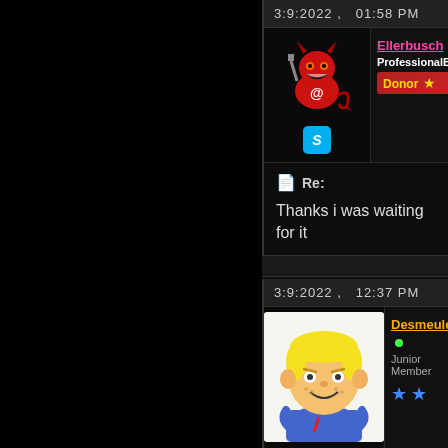3:9:2022 ,   01:58 PM
[Figure (illustration): Devil cartoon avatar for user Ellerbusch]
Ellerbusch • ProfessionalBotters Donor ★
Re:
Thanks i was waiting for it
3:9:2022 ,   12:37 PM
[Figure (illustration): Dennis the Menace style cartoon avatar for user Desmeules]
Desmeules • Junior Member ★★
Re: Wifi gods hacking ton...